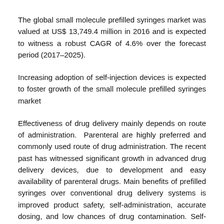The global small molecule prefilled syringes market was valued at US$ 13,749.4 million in 2016 and is expected to witness a robust CAGR of 4.6% over the forecast period (2017–2025).
Increasing adoption of self-injection devices is expected to foster growth of the small molecule prefilled syringes market
Effectiveness of drug delivery mainly depends on route of administration. Parenteral are highly preferred and commonly used route of drug administration. The recent past has witnessed significant growth in advanced drug delivery devices, due to development and easy availability of parenteral drugs. Main benefits of prefilled syringes over conventional drug delivery systems is improved product safety, self-administration, accurate dosing, and low chances of drug contamination. Self-injection advantage of prefilled syringes is a major factor for increasing